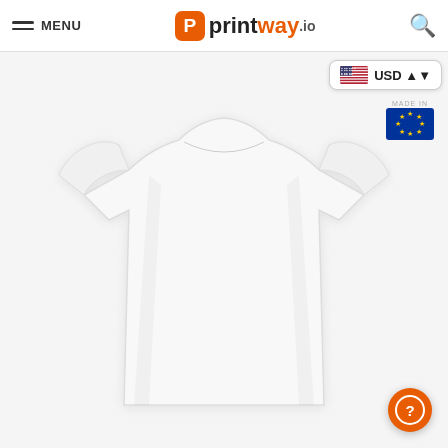MENU | printway.io | [search icon]
USD
[Figure (illustration): EU flag with MADE IN text above it]
[Figure (photo): A plain white short-sleeve crew-neck t-shirt on a mannequin, front view, on a light grey background]
[Figure (other): Orange circular help button with a question mark icon, positioned bottom-right]